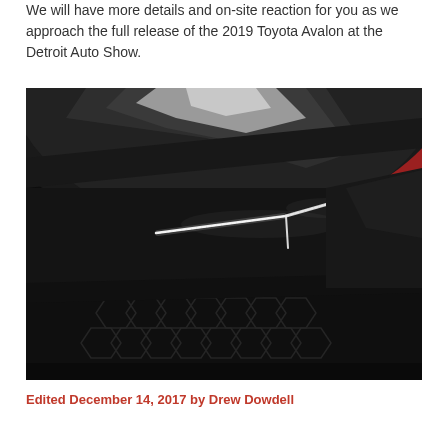We will have more details and on-site reaction for you as we approach the full release of the 2019 Toyota Avalon at the Detroit Auto Show.
[Figure (photo): Close-up teaser photo of the 2019 Toyota Avalon front end showing a distinctive LED daytime running light in a Y/bowtie shape against a dark background, with a glimpse of the grille and red background element.]
Edited December 14, 2017 by Drew Dowdell